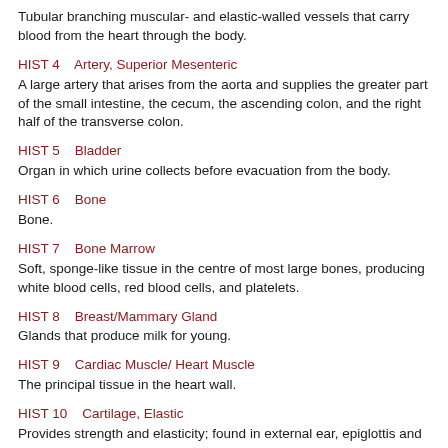Tubular branching muscular- and elastic-walled vessels that carry blood from the heart through the body.
HIST 4    Artery, Superior Mesenteric
A large artery that arises from the aorta and supplies the greater part of the small intestine, the cecum, the ascending colon, and the right half of the transverse colon.
HIST 5    Bladder
Organ in which urine collects before evacuation from the body.
HIST 6    Bone
Bone.
HIST 7    Bone Marrow
Soft, sponge-like tissue in the centre of most large bones, producing white blood cells, red blood cells, and platelets.
HIST 8    Breast/Mammary Gland
Glands that produce milk for young.
HIST 9    Cardiac Muscle/ Heart Muscle
The principal tissue in the heart wall.
HIST 10    Cartilage, Elastic
Provides strength and elasticity; found in external ear, epiglottis and auditory tubes.
HIST 11    Cartilage, Fibrocartilage
Cushions and protects, such as intervertebral discs, pads in knee